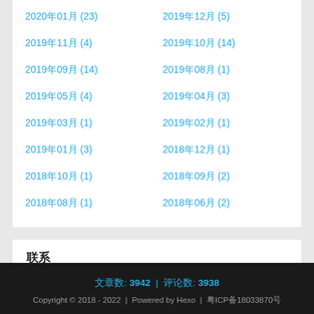2020年01月 (23)
2019年12月 (5)
2019年11月 (4)
2019年10月 (14)
2019年09月 (14)
2019年08月 (1)
2019年05月 (4)
2019年04月 (3)
2019年03月 (1)
2019年02月 (1)
2019年01月 (3)
2018年12月 (1)
2018年10月 (1)
2018年09月 (2)
2018年08月 (1)
2018年06月 (2)
联系
[Figure (infographic): Row of social/contact icons: GitHub, git, email, QQ, group, RSS feed in blue]
文章数: 3942 | 评论数: 3938
Copyright © 2018 - 2022 | Powered by Hexo | 粤ICP备18033870号